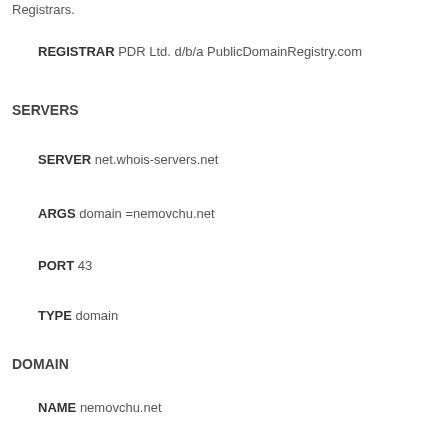Registrars.
REGISTRAR PDR Ltd. d/b/a PublicDomainRegistry.com
SERVERS
SERVER net.whois-servers.net
ARGS domain =nemovchu.net
PORT 43
TYPE domain
DOMAIN
NAME nemovchu.net
CHANGED 2019-05-27
CREATED 2014-05-20